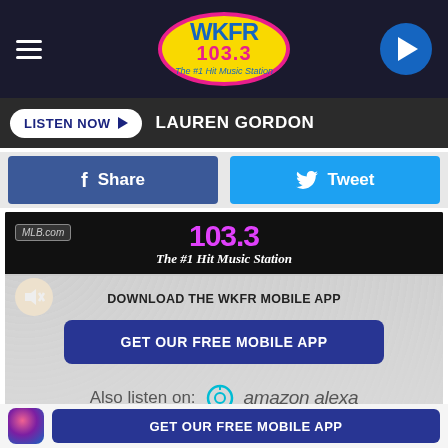WKFR 103.3 The #1 Hit Music Station
LISTEN NOW ▶ LAUREN GORDON
f Share   🐦 Tweet
[Figure (screenshot): Concert scene with WKFR 103.3 banner overlay reading 'The #1 Hit Music Station', a mute button, MLB.com badge, and a semi-transparent panel showing DOWNLOAD THE WKFR MOBILE APP, GET OUR FREE MOBILE APP button, and Also listen on: amazon alexa]
GET OUR FREE MOBILE APP